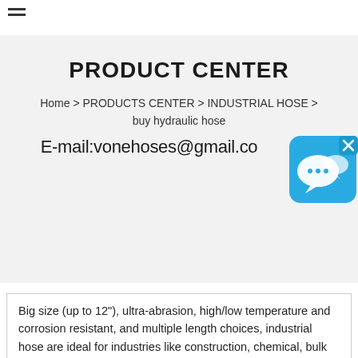≡
PRODUCT CENTER
Home > PRODUCTS CENTER > INDUSTRIAL HOSE > buy hydraulic hose
E-mail:vonehoses@gmail.co
[Figure (illustration): Blue chat/speech bubble icon widget with an X close button in the top right corner]
Big size (up to 12"), ultra-abrasion, high/low temperature and corrosion resistant, and multiple length choices, industrial hose are ideal for industries like construction, chemical, bulk material delivery, steel mills, oil & gas, machinery and equipment manufacturing, high pressure cleaning, F&B and